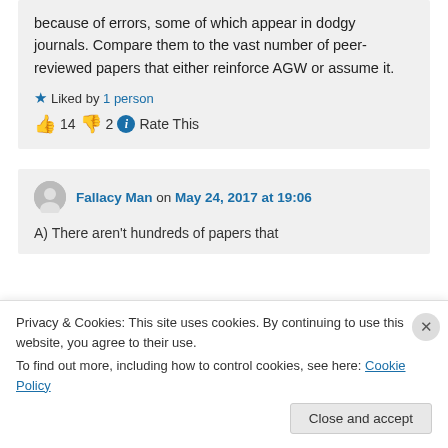because of errors, some of which appear in dodgy journals. Compare them to the vast number of peer-reviewed papers that either reinforce AGW or assume it.
Liked by 1 person
👍 14 👎 2 ℹ Rate This
Fallacy Man on May 24, 2017 at 19:06
A) There aren't hundreds of papers that
Privacy & Cookies: This site uses cookies. By continuing to use this website, you agree to their use. To find out more, including how to control cookies, see here: Cookie Policy
Close and accept